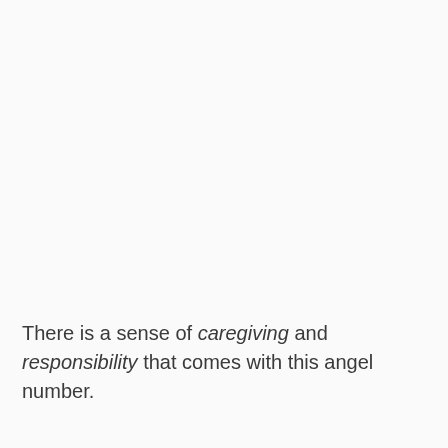There is a sense of caregiving and responsibility that comes with this angel number.